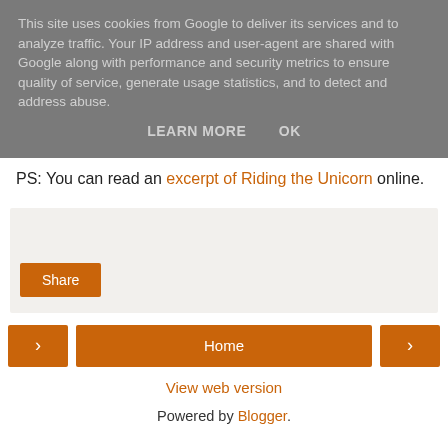This site uses cookies from Google to deliver its services and to analyze traffic. Your IP address and user-agent are shared with Google along with performance and security metrics to ensure quality of service, generate usage statistics, and to detect and address abuse.
LEARN MORE   OK
PS: You can read an excerpt of Riding the Unicorn online.
[Figure (other): Share button area with light beige background]
< Home >
View web version
Powered by Blogger.